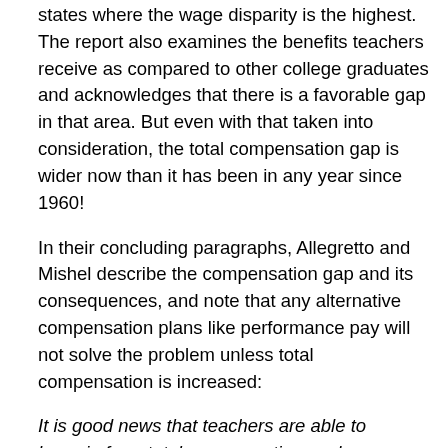states where the wage disparity is the highest. The report also examines the benefits teachers receive as compared to other college graduates and acknowledges that there is a favorable gap in that area. But even with that taken into consideration, the total compensation gap is wider now than it has been in any year since 1960!
In their concluding paragraphs, Allegretto and Mishel describe the compensation gap and its consequences, and note that any alternative compensation plans like performance pay will not solve the problem unless total compensation is increased:
It is good news that teachers are able to bargain for a total compensation package—though it seems they may have forgone wage increases for benefits recently: As we've documented, teacher wages have been stagnant since the mid-1990s, while their total compensation has...